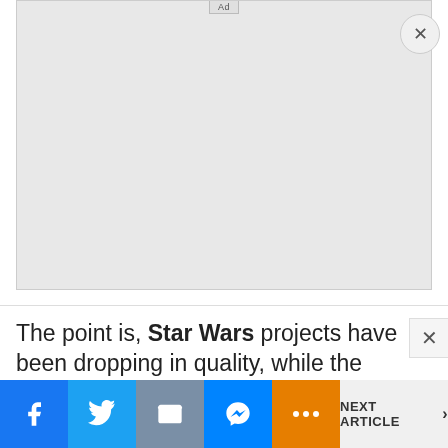[Figure (screenshot): Advertisement placeholder box with 'Ad' label at top center and a circular close (X) button at top right]
The point is, Star Wars projects have been dropping in quality, while the Star Trek
[Figure (infographic): Social sharing bar at bottom with Facebook, Twitter, Email, Messenger, More buttons and NEXT ARTICLE navigation]